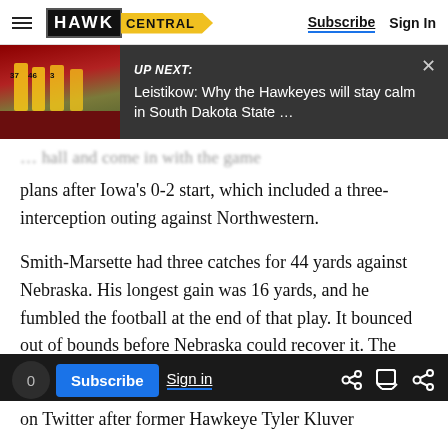HAWK CENTRAL — Subscribe | Sign In
[Figure (screenshot): UP NEXT overlay: football players image on left, text 'UP NEXT: Leistikow: Why the Hawkeyes will stay calm in South Dakota State ...' on dark background with X close button]
plans after Iowa's 0-2 start, which included a three-interception outing against Northwestern.
Smith-Marsette had three catches for 44 yards against Nebraska. His longest gain was 16 yards, and he fumbled the football at the end of that play. It bounced out of bounds before Nebraska could recover it. The Hawkeyes got a field goal on that second-quarter drive.
[Figure (screenshot): Bottom toolbar with counter '0', Subscribe button (blue), Sign in link (underlined), and link/comment/share icons]
on Twitter after former Hawkeye Tyler Kluver